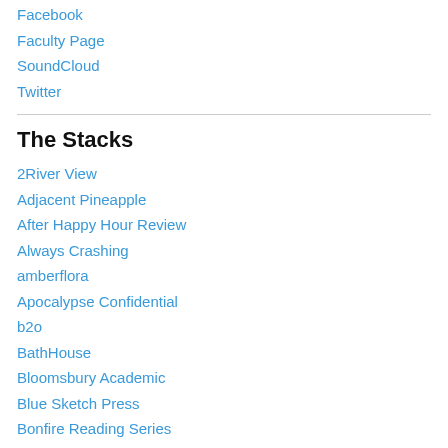Facebook
Faculty Page
SoundCloud
Twitter
The Stacks
2River View
Adjacent Pineapple
After Happy Hour Review
Always Crashing
amberflora
Apocalypse Confidential
b2o
BathHouse
Bloomsbury Academic
Blue Sketch Press
Bonfire Reading Series
boundary 2